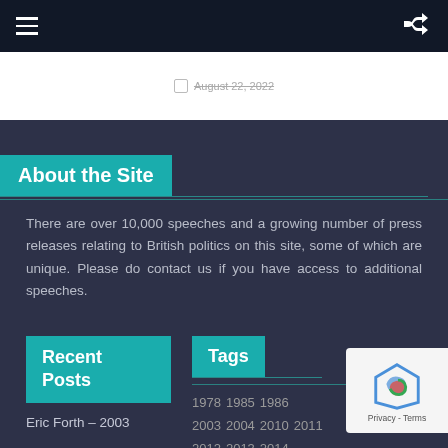Navigation bar with hamburger menu and shuffle icon
August 22, 2022
About the Site
There are over 10,000 speeches and a growing number of press releases relating to British politics on this site, some of which are unique. Please do contact us if you have access to additional speeches.
Recent Posts
Tags
1978 1985 1986
2003 2004 2010 2011
2012 2013 2014
Eric Forth – 2003